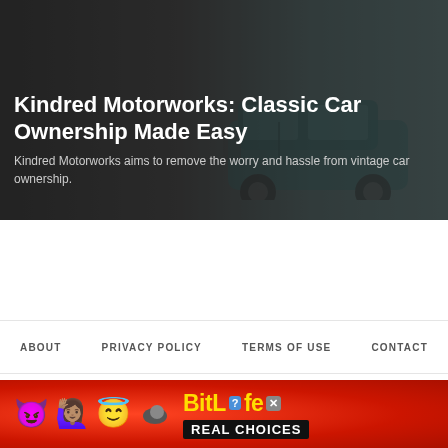[Figure (photo): Dark background with vintage teal VW bus/van and text overlay about Kindred Motorworks]
Kindred Motorworks: Classic Car Ownership Made Easy
Kindred Motorworks aims to remove the worry and hassle from vintage car ownership.
[Figure (other): White advertisement space]
ABOUT   PRIVACY POLICY   TERMS OF USE   CONTACT
[Figure (other): Dark footer with social media icons: Facebook, Twitter, Pinterest, Instagram, YouTube; share button and scroll-to-top button; 'Stay in the loop' heading; BitLife advertisement banner]